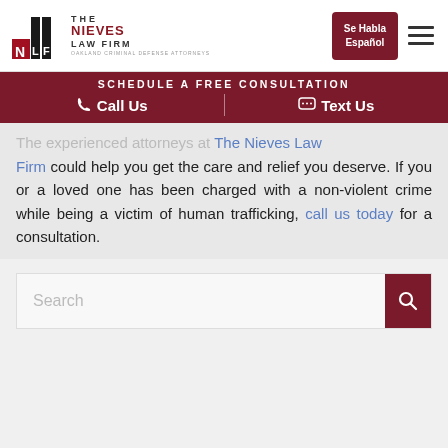[Figure (logo): The Nieves Law Firm logo with NLF letters and text 'OAKLAND CRIMINAL DEFENSE ATTORNEYS']
Se Habla Español
SCHEDULE A FREE CONSULTATION
Call Us   Text Us
The experienced attorneys at The Nieves Law Firm could help you get the care and relief you deserve. If you or a loved one has been charged with a non-violent crime while being a victim of human trafficking, call us today for a consultation.
Search